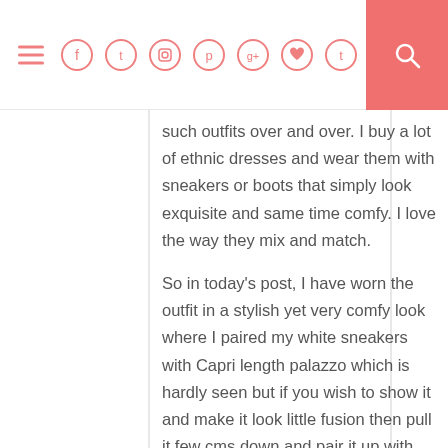Navigation bar with hamburger menu, social icons (Facebook, Twitter, Instagram, Pinterest, Google+, Heart, Tumblr), and search button
such outfits over and over. I buy a lot of ethnic dresses and wear them with sneakers or boots that simply look exquisite and same time comfy. I love the way they mix and match.
So in today's post, I have worn the outfit in a stylish yet very comfy look where I paired my white sneakers with Capri length palazzo which is hardly seen but if you wish to show it and make it look little fusion then pull it few cms down and pair it up with stilettos that will be a nice